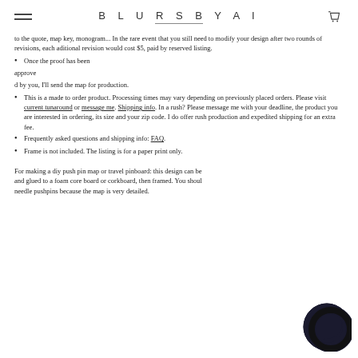BLURSBYAI
to the quote, map key, monogram... In the rare event that you still need to modify your design after two rounds of revisions, each aditional revision would cost $5, paid by reserved listing.
Once the proof has been approve
d by you, I'll send the map for production.
This is a made to order product. Processing times may vary depending on previously placed orders. Please visit current tunaround or message me. Shipping info. In a rush? Please message me with your deadline, the product you are interested in ordering, its size and your zip code. I do offer rush production and expedited shipping for an extra fee.
Frequently asked questions and shipping info: FAQ.
Frame is not included. The listing is for a paper print only.
For making a diy push pin map or travel pinboard: this design can be and glued to a foam core board or corkboard, then framed. You shoul needle pushpins because the map is very detailed.